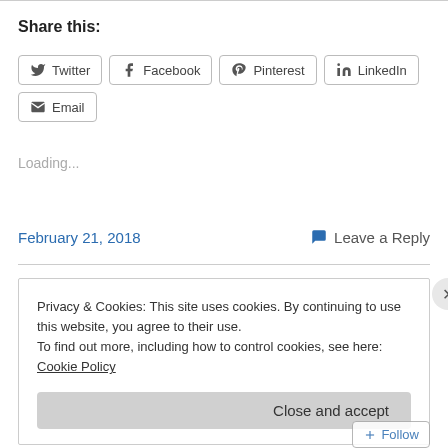Share this:
[Figure (other): Row of social share buttons: Twitter, Facebook, Pinterest, LinkedIn, Email]
Loading...
February 21, 2018
Leave a Reply
Privacy & Cookies: This site uses cookies. By continuing to use this website, you agree to their use.
To find out more, including how to control cookies, see here: Cookie Policy
Close and accept